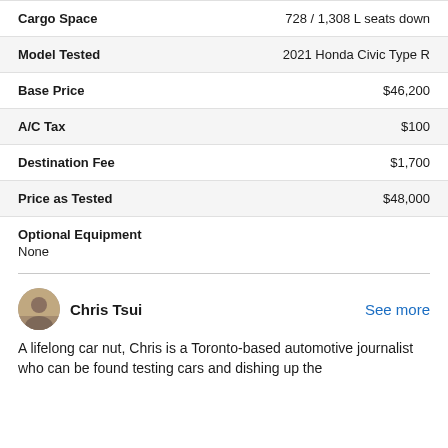| Attribute | Value |
| --- | --- |
| Cargo Space | 728 / 1,308 L seats down |
| Model Tested | 2021 Honda Civic Type R |
| Base Price | $46,200 |
| A/C Tax | $100 |
| Destination Fee | $1,700 |
| Price as Tested | $48,000 |
Optional Equipment
None
Chris Tsui
See more
A lifelong car nut, Chris is a Toronto-based automotive journalist who can be found testing cars and dishing up the